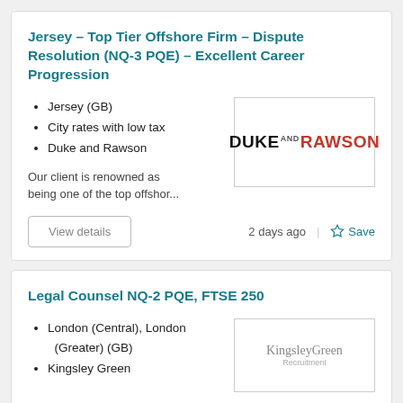Jersey – Top Tier Offshore Firm – Dispute Resolution (NQ-3 PQE) – Excellent Career Progression
Jersey (GB)
City rates with low tax
Duke and Rawson
Our client is renowned as being one of the top offshor...
[Figure (logo): Duke and Rawson logo — DUKE in black bold, AND in small superscript, RAWSON in red bold]
2 days ago
Legal Counsel NQ-2 PQE, FTSE 250
London (Central), London (Greater) (GB)
Kingsley Green
[Figure (logo): Kingsley Green Recruitment logo in grey serif font]